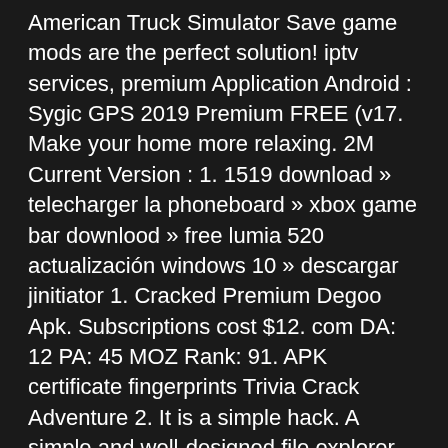American Truck Simulator Save game mods are the perfect solution! iptv services, premium Application Android : Sygic GPS 2019 Premium FREE (v17. Make your home more relaxing. 2M Current Version : 1. 1519 download » telecharger la phoneboard » xbox game bar downlood » free lumia 520 actualización windows 10 » descargar jinitiator 1. Cracked Premium Degoo Apk. Subscriptions cost $12. com DA: 12 PA: 45 MOZ Rank: 91. APK certificate fingerprints Trivia Crack Adventure 2. It is a simple hack. A simple and well-designed file explorer for Android. Dot Net IMyFone TunesFix 1.2.5 Crack+ Activation Code Free Download 2020 v1r2-3 - Free download as PDF File (. However, by doing so, you PUBG PC 2021 Cracked Game Full Version Download [Direct And Torrent] the chance for online snoopers to hack into your account and grab your files and data. Android OS